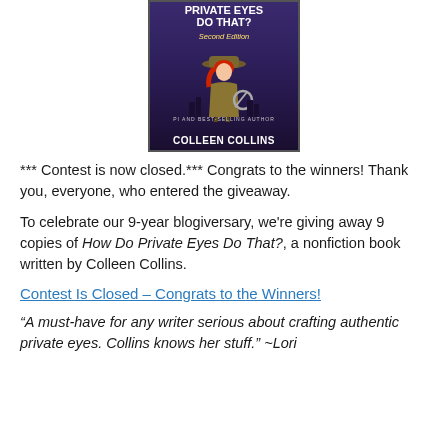[Figure (illustration): Book cover of 'How Do Private Eyes Do That?' by Colleen Collins, showing a female private eye with red hair wearing a trench coat and hat, holding a magnifying glass, against a dark city skyline background.]
*** Contest is now closed.*** Congrats to the winners! Thank you, everyone, who entered the giveaway.
To celebrate our 9-year blogiversary, we're giving away 9 copies of How Do Private Eyes Do That?, a nonfiction book written by Colleen Collins.
Contest Is Closed – Congrats to the Winners!
“A must-have for any writer serious about crafting authentic private eyes. Collins knows her stuff.” ~Lori